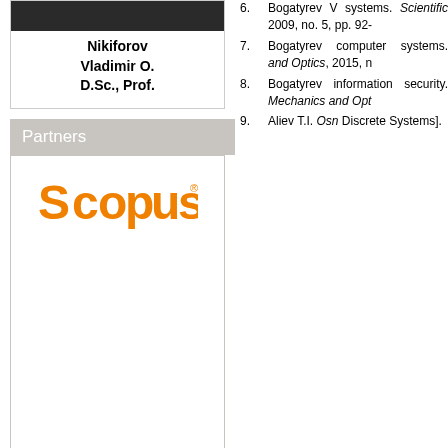[Figure (photo): Photo of Nikiforov Vladimir O., D.Sc., Prof. with dark background image at top]
Partners
[Figure (logo): Scopus logo in orange on white background inside a bordered box]
6. Bogatyrev V systems. Scientific 2009, no. 5, pp. 92- 7. Bogatyrev computer systems. and Optics, 2015, n 8. Bogatyrev information security. Mechanics and Opt 9. Aliev T.I. Osn Discrete Systems].